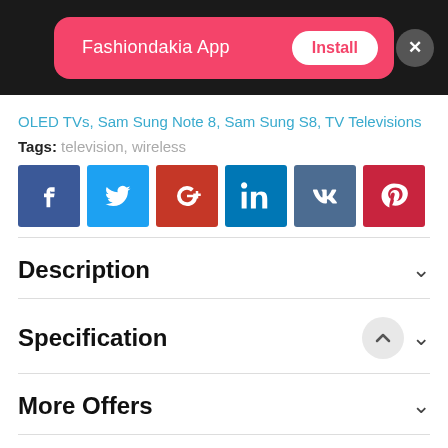[Figure (screenshot): App install banner for Fashiondakia App with pink background, Install button, and close X button]
OLED TVs, Sam Sung Note 8, Sam Sung S8, TV Televisions
Tags: television, wireless
[Figure (other): Social sharing icons: Facebook, Twitter, Google+, LinkedIn, VK, Pinterest]
Description
Specification
More Offers